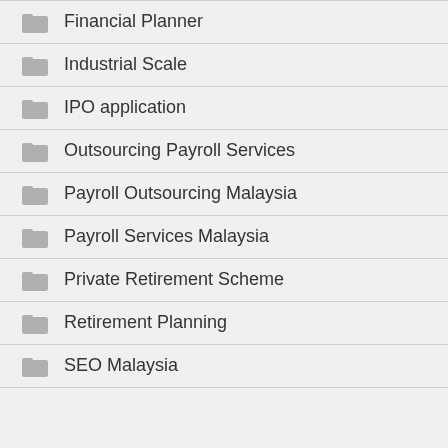Financial Planner
Industrial Scale
IPO application
Outsourcing Payroll Services
Payroll Outsourcing Malaysia
Payroll Services Malaysia
Private Retirement Scheme
Retirement Planning
SEO Malaysia